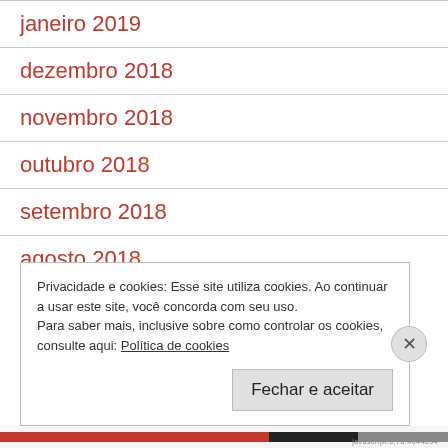janeiro 2019
dezembro 2018
novembro 2018
outubro 2018
setembro 2018
agosto 2018
Privacidade e cookies: Esse site utiliza cookies. Ao continuar a usar este site, você concorda com seu uso.
Para saber mais, inclusive sobre como controlar os cookies, consulte aqui: Política de cookies
Fechar e aceitar